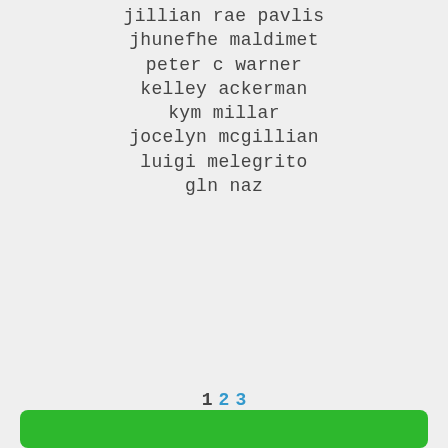jillian rae pavlis
jhunefhe maldimet
peter c warner
kelley ackerman
kym millar
jocelyn mcgillian
luigi melegrito
gln naz
1 2 3